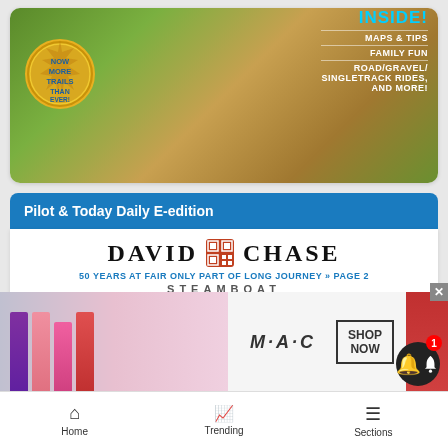[Figure (photo): Outdoor trail cycling photo with gold badge saying NOW MORE TRAILS THAN EVER and white text overlay listing INSIDE: MAPS & TIPS, FAMILY FUN, ROAD/GRAVEL/SINGLETRACK RIDES, AND MORE!]
Pilot & Today Daily E-edition
[Figure (screenshot): David Chase newspaper e-edition logo with QR code icon, tagline 50 YEARS AT FAIR ONLY PART OF LONG JOURNEY PAGE 2, and STEAMBOAT below]
[Figure (photo): M·A·C cosmetics advertisement with lipsticks and SHOP NOW button]
Home
Trending
Sections